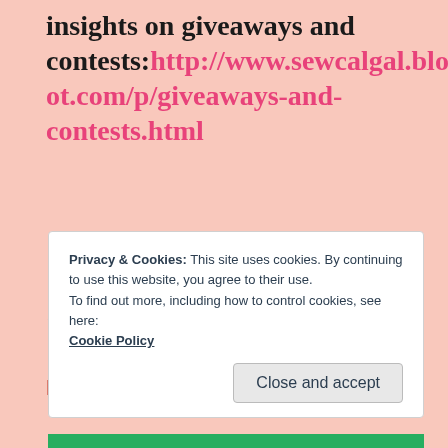insights on giveaways and contests: http://www.sewcalgal.blogspot.com/p/giveaways-and-contests.html
★ Like
REPLY
Privacy & Cookies: This site uses cookies. By continuing to use this website, you agree to their use.
To find out more, including how to control cookies, see here: Cookie Policy
Close and accept